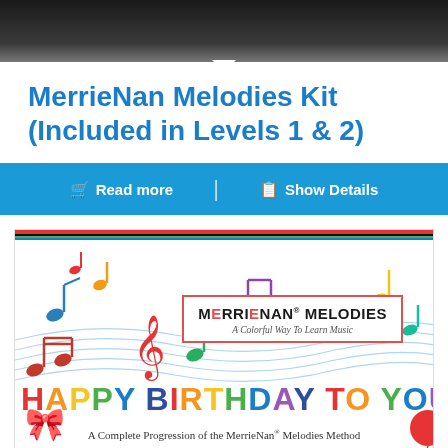[Figure (screenshot): Top dark bar area (screenshot/website header)]
MerrieNan Melodies Kit (Included in Levels 1 & 2)
Read more | Show Details
[Figure (illustration): MerrieNan Melodies colorful music notes illustration with brand box and Happy Birthday To You text. Tagline: A Colorful Way To Learn Music. Footer: A Complete Progression of the MerrieNan Melodies Method]